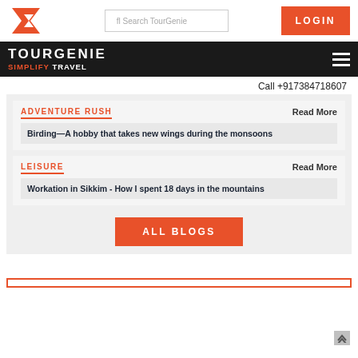[Figure (logo): TourGenie logo: orange stylized arrow/chevron icon]
Search TourGenie
LOGIN
TOURGENIE
SIMPLIFY TRAVEL
Call +917384718607
ADVENTURE RUSH
Read More
Birding—A hobby that takes new wings during the monsoons
LEISURE
Read More
Workation in Sikkim - How I spent 18 days in the mountains
ALL BLOGS